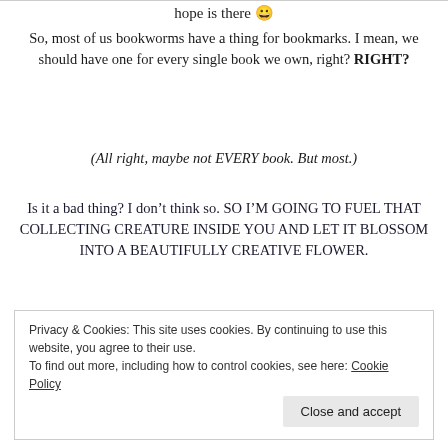hope is there 😀
So, most of us bookworms have a thing for bookmarks. I mean, we should have one for every single book we own, right? RIGHT?
(All right, maybe not EVERY book. But most.)
Is it a bad thing? I don't think so. SO I'M GOING TO FUEL THAT COLLECTING CREATURE INSIDE YOU AND LET IT BLOSSOM INTO A BEAUTIFULLY CREATIVE FLOWER.
Privacy & Cookies: This site uses cookies. By continuing to use this website, you agree to their use.
To find out more, including how to control cookies, see here: Cookie Policy
Close and accept